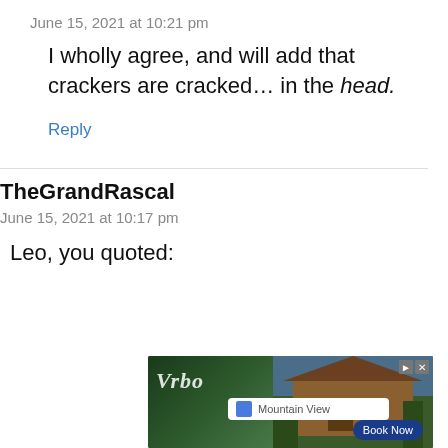June 15, 2021 at 10:21 pm
I wholly agree, and will add that crackers are cracked… in the head.
Reply
TheGrandRascal
June 15, 2021 at 10:17 pm
Leo, you quoted:
[Figure (screenshot): Vrbo advertisement showing a mountain cabin with a 'Mountain View' search field and 'Book Now' button]